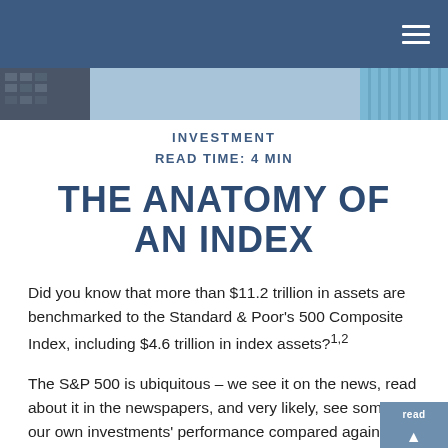INVESTMENT
READ TIME: 4 MIN
THE ANATOMY OF AN INDEX
Did you know that more than $11.2 trillion in assets are benchmarked to the Standard & Poor's 500 Composite Index, including $4.6 trillion in index assets?1,2
The S&P 500 is ubiquitous – we see it on the news, read about it in the newspapers, and very likely, see some of our own investments' performance compared against it.